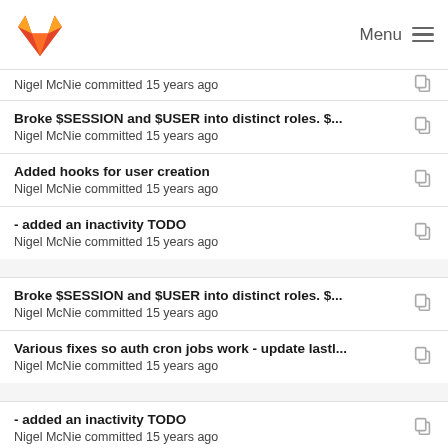GitLab — Menu
Nigel McNie committed 15 years ago
Broke $SESSION and $USER into distinct roles. $...
Nigel McNie committed 15 years ago
Added hooks for user creation
Nigel McNie committed 15 years ago
- added an inactivity TODO
Nigel McNie committed 15 years ago
Broke $SESSION and $USER into distinct roles. $...
Nigel McNie committed 15 years ago
Various fixes so auth cron jobs work - update lastl...
Nigel McNie committed 15 years ago
- added an inactivity TODO
Nigel McNie committed 15 years ago